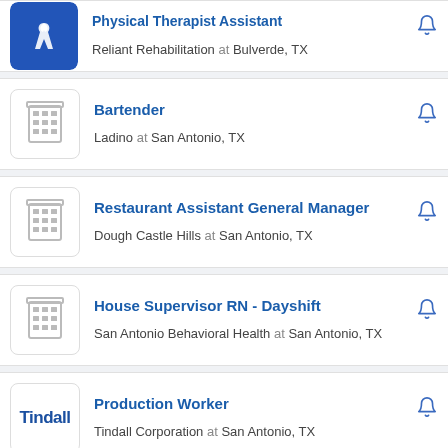Physical Therapist Assistant — Reliant Rehabilitation at Bulverde, TX
Bartender — Ladino at San Antonio, TX
Restaurant Assistant General Manager — Dough Castle Hills at San Antonio, TX
House Supervisor RN - Dayshift — San Antonio Behavioral Health at San Antonio, TX
Production Worker — Tindall Corporation at San Antonio, TX
Work From Home Tax Accountant — Intuit at San Antonio, TX